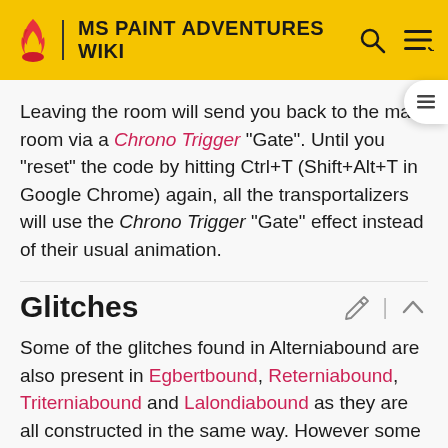MS PAINT ADVENTURES WIKI
Leaving the room will send you back to the main room via a Chrono Trigger "Gate". Until you "reset" the code by hitting Ctrl+T (Shift+Alt+T in Google Chrome) again, all the transportalizers will use the Chrono Trigger "Gate" effect instead of their usual animation.
Glitches
Some of the glitches found in Alterniabound are also present in Egbertbound, Reterniabound, Triterniabound and Lalondiabound as they are all constructed in the same way. However some glitches are exclusive to certain Flashes due to other factors such as the presence or absence of Trickster Mode.